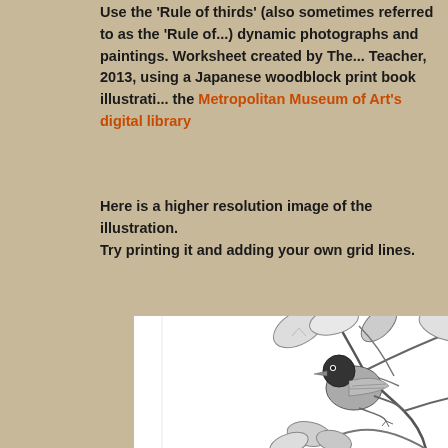Use the 'Rule of thirds' (also sometimes referred to as the 'Rule of...) dynamic photographs and paintings. Worksheet created by The... Teacher, 2013, using a Japanese woodblock print book illustration... the Metropolitan Museum of Art's digital library
Here is a higher resolution image of the illustration.
Try printing it and adding your own grid lines.
[Figure (illustration): Black and white Japanese woodblock print illustration showing a small bird (chickadee-like) perched on a branch with leaves and a round fruit (possibly a persimmon or pear). The illustration is detailed with fine linework showing feathers on the bird and veins on the leaves. There are twisting branches and additional flowers/leaves in the lower portion.]